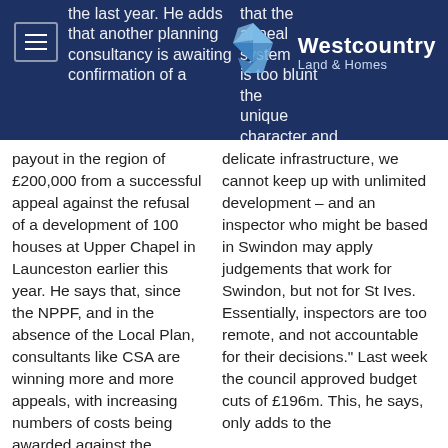Westcountry Land & Homes
payout in the region of £200,000 from a successful appeal against the refusal of a development of 100 houses at Upper Chapel in Launceston earlier this year. He says that, since the NPPF, and in the absence of the Local Plan, consultants like CSA are winning more and more appeals, with increasing numbers of costs being awarded against the council – and it is to end, which
delicate infrastructure, we cannot keep up with unlimited development – and an inspector who might be based in Swindon may apply judgements that work for Swindon, but not for St Ives. Essentially, inspectors are too remote, and not accountable for their decisions." Last week the council approved budget cuts of £196m. This, he says, only adds to the